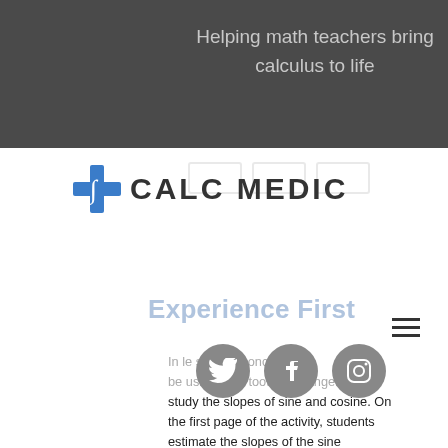Helping math teachers bring calculus to life
[Figure (logo): Calc Medic logo with blue cross and integral symbol]
Experience First
[Figure (illustration): Social media icons: Twitter, Facebook, Instagram]
In this lesson, students will once again be using their toothpick tangents to study the slopes of sine and cosine. On the first page of the activity, students estimate the slopes of the sine function at various inputs. Students are prompted to consider where the slopes will be steepest and flattest and then use the provided values in the table to make conjectures about slopes at other points. Students will